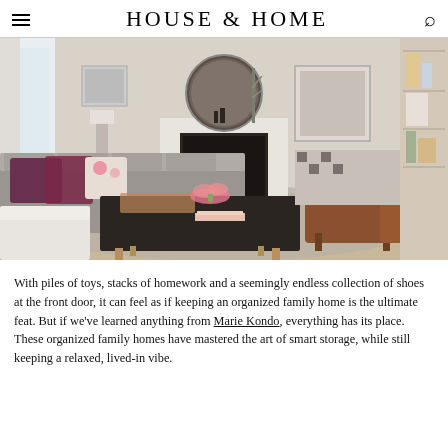HOUSE & HOME
[Figure (photo): Interior photo of a stylish, organized living room with a grey sofa with purple and floral pillows, a dark coffee table with pink flowers and candles, a white fireplace with a round dark mirror above it, a mid-century modern leather armchair, built-in shelving on the right, and neutral area rug.]
With piles of toys, stacks of homework and a seemingly endless collection of shoes at the front door, it can feel as if keeping an organized family home is the ultimate feat. But if we've learned anything from Marie Kondo, everything has its place. These organized family homes have mastered the art of smart storage, while still keeping a relaxed, lived-in vibe.